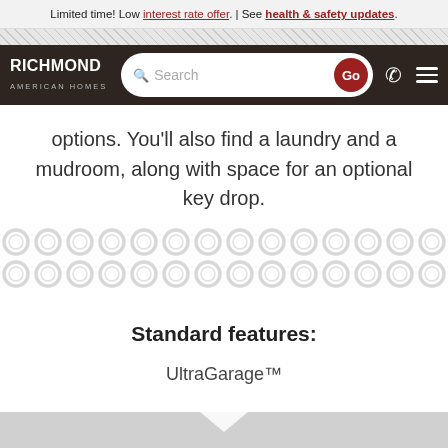Limited time! Low interest rate offer. | See health & safety updates.
[Figure (screenshot): Richmond American Homes website navigation bar with logo, search box with Go button, phone icon, and hamburger menu icon]
options. You'll also find a laundry and a mudroom, along with space for an optional key drop.
[Figure (illustration): Decorative horizontal border with repeating circular chain-link pattern in light gray]
Standard features:
UltraGarage™